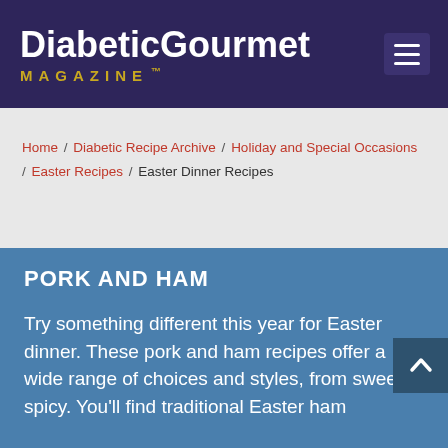Diabetic Gourmet Magazine
Home / Diabetic Recipe Archive / Holiday and Special Occasions / Easter Recipes / Easter Dinner Recipes
PORK AND HAM
Try something different this year for Easter dinner. These pork and ham recipes offer a wide range of choices and styles, from sweet to spicy. You'll find traditional Easter ham